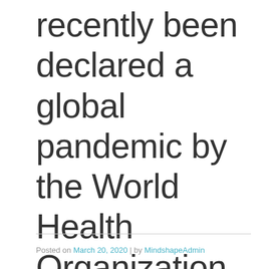recently been declared a global pandemic by the World Health Organization.
Posted on March 20, 2020 | by MindshapeAdmin